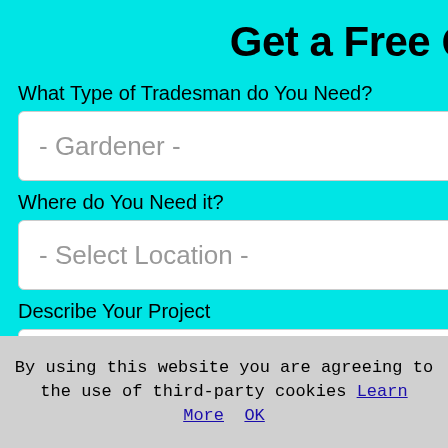Get a Free Quote
What Type of Tradesman do You Need?
- Gardener -
Where do You Need it?
- Select Location -
Describe Your Project
It is not too much to ask that any gardener treats your garden, plants and contents with a degree of respect. Thus, your primary goal ought to be to find a gardener in the Whalley district who is known for doing a good job and is regarded as
By using this website you are agreeing to the use of third-party cookies Learn More OK